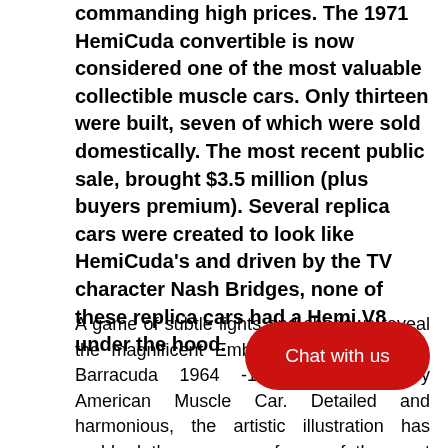commanding high prices. The 1971 HemiCuda convertible is now considered one of the most valuable collectible muscle cars. Only thirteen were built, seven of which were sold domestically. The most recent public sale, brought $3.5 million (plus buyers premium). Several replica cars were created to look like HemiCuda's and driven by the TV character Nash Bridges, none of these replica cars had a Hemi V8 under the hood.
A game of subtle lights and shadows reveal the magnificent Emblem of the Plymouth Barracuda 1964 -1969, a Legendary American Muscle Car. Detailed and harmonious, the artistic illustration has grabbed the essence of one of the most influential vehicle of the 20th century and is printed in front of the tee. Refine and stylish, it is a perfect wear for [obscured] and to show your passion for a true [obscured] s forever: the Plymouth Barracuda 1964 - 1969 Emblem [Short Sleeve T-Shirt]